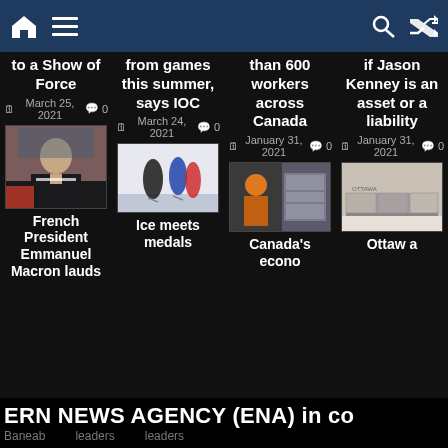Navigation bar with home, menu icons and search, shuffle icons
to a Show of Force — March 25, 2021 — 0 comments
from games this summer, says IOC — March 24, 2021 — 0 comments
than 600 workers across Canada — January 31, 2021 — 0 comments
if Jason Kenney is an asset or a liability — January 31, 2021 — 0 comments
[Figure (photo): French President Emmanuel Macron in suit]
French President Emmanuel Macron lauds
[Figure (photo): Ice skaters competing]
Ice meets medals
[Figure (photo): Worker in orange vest and another photo]
Canada's econo
[Figure (photo): Ottawa building or containers]
Ottaw a
ERN NEWS AGENCY (ENA) in co    Baneab    leaders    leaders